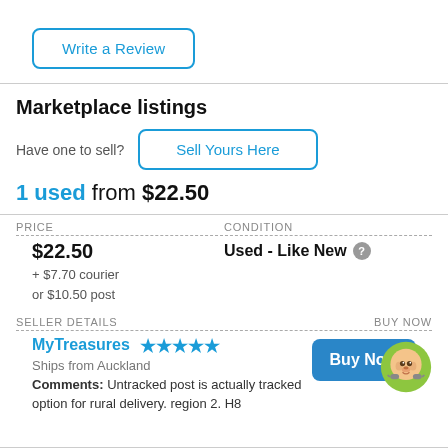Write a Review
Marketplace listings
Have one to sell?
Sell Yours Here
1 used from $22.50
| PRICE | CONDITION |
| --- | --- |
| $22.50
+ $7.70 courier
or $10.50 post | Used - Like New |
| SELLER DETAILS | BUY NOW |
| --- | --- |
| MyTreasures ★★★★★
Ships from Auckland
Comments: Untracked post is actually tracked option for rural delivery. region 2. H8 | Buy Now |